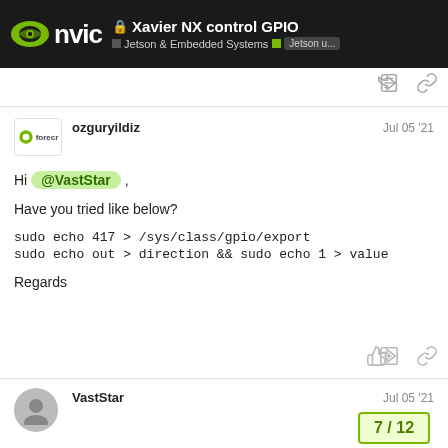Xavier NX control GPIO — Jetson & Embedded Systems / Jetson u...
ozguryildiz  Jul 05 '21
Hi @VastStar ,

Have you tried like below?

sudo echo 417 > /sys/class/gpio/export
sudo echo out > direction && sudo echo 1 > value

Regards
VastStar  Jul 05 '21
[Figure (other): Navigation pill showing 7/12]